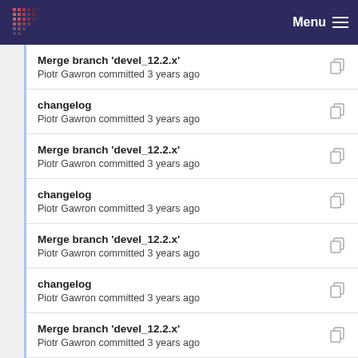Menu
Merge branch 'devel_12.2.x'
Piotr Gawron committed 3 years ago
changelog
Piotr Gawron committed 3 years ago
Merge branch 'devel_12.2.x'
Piotr Gawron committed 3 years ago
changelog
Piotr Gawron committed 3 years ago
Merge branch 'devel_12.2.x'
Piotr Gawron committed 3 years ago
changelog
Piotr Gawron committed 3 years ago
Merge branch 'devel_12.2.x'
Piotr Gawron committed 3 years ago
changelog